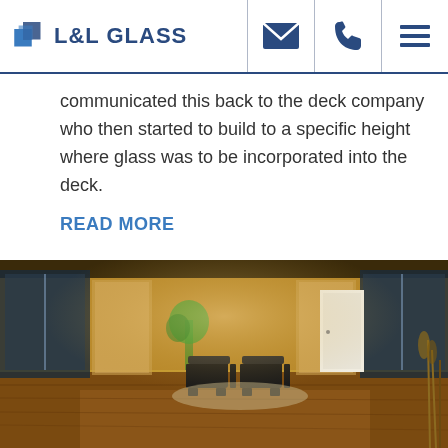L&L GLASS
communicated this back to the deck company who then started to build to a specific height where glass was to be incorporated into the deck.
READ MORE
[Figure (photo): Interior showroom of L&L Glass featuring hardwood floors, two black chairs, glass shower displays along the walls, and warm amber lighting.]